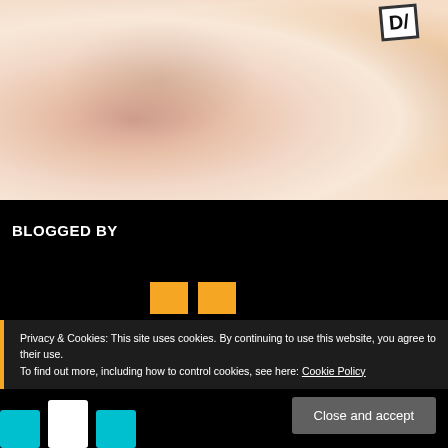[Figure (photo): Shirtless male torso, person holding a black and white sign in upper right area, white background]
BLOGGED BY
[Figure (other): Two orange/yellow rectangular boxes side by side]
Privacy & Cookies: This site uses cookies. By continuing to use this website, you agree to their use.
To find out more, including how to control cookies, see here: Cookie Policy
[Figure (logo): Partial cyan/turquoise logo visible at bottom left]